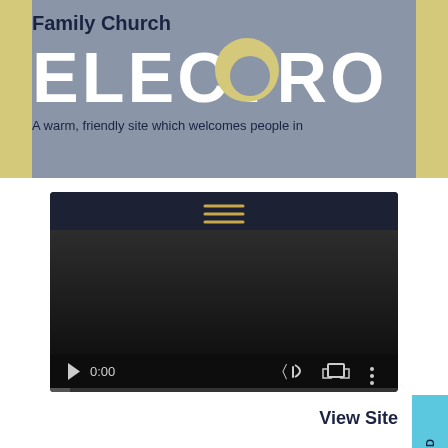Family Church
ELECTRODE
A warm, friendly site which welcomes people in
[Figure (screenshot): Video player screenshot showing a dark video player interface with a hamburger menu icon at top, play button, 0:00 timestamp, volume icon, fullscreen icon, and more options icon. A progress bar is shown at the bottom.]
View Site
REE-EE-WIND